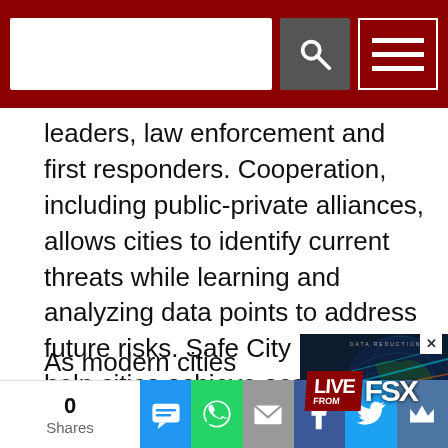[Search bar and navigation menu]
leaders, law enforcement and first responders. Cooperation, including public-private alliances, allows cities to identify current threats while learning and analyzing data points to address future risks. Safe City initiatives help cities achieve accurate situational awareness by aggregating a large amount of data and turning it into valuable information, which enables officials to identify threats, manage emergency situations and investigate incidents.
As modern cities grow, officials require more
[Figure (screenshot): Advertisement showing 'LIVE FROM FSX' text overlay on a dark globe/map background]
0 Shares — social share buttons: SMS, WhatsApp, Email, Facebook, Twitter, VK